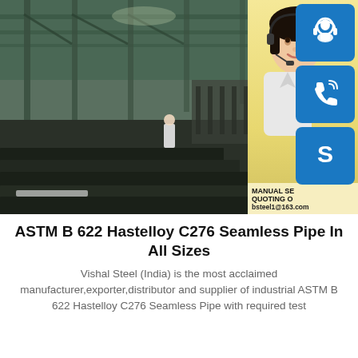[Figure (photo): Composite image: left side shows a factory/industrial warehouse interior with steel plates stacked on the floor and structural green steel framework visible overhead. A worker in white is visible in the middle distance. Right side shows a smiling woman with a headset (customer service representative) against a warm yellow background. On the far right are three blue icon buttons: a headset/person icon, a phone icon, and a Skype-style 'S' icon. Below the woman photo is text overlay: 'MANUAL SE... QUOTING O... bsteel1@163.com']
ASTM B 622 Hastelloy C276 Seamless Pipe In All Sizes
Vishal Steel (India) is the most acclaimed manufacturer,exporter,distributor and supplier of industrial ASTM B 622 Hastelloy C276 Seamless Pipe with required test